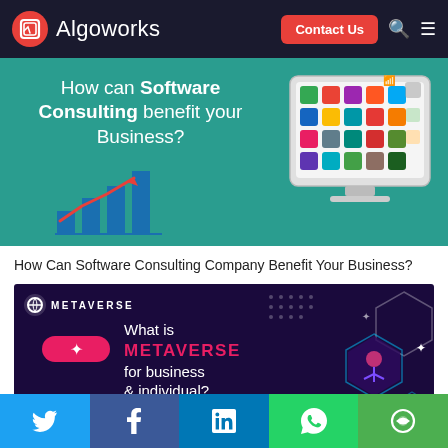Algoworks | Contact Us
[Figure (screenshot): Banner image: How can Software Consulting benefit your Business? with a bar chart and growth arrow illustration, and a computer monitor showing app icons]
How Can Software Consulting Company Benefit Your Business?
[Figure (illustration): Metaverse banner with text: What is METAVERSE for business & individual? with hexagonal graphics, a chat bubble saying Chat with us! and a person avatar]
Social share bar: Twitter, Facebook, LinkedIn, WhatsApp, Share